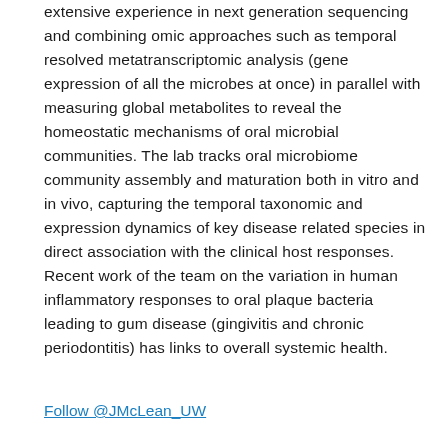extensive experience in next generation sequencing and combining omic approaches such as temporal resolved metatranscriptomic analysis (gene expression of all the microbes at once) in parallel with measuring global metabolites to reveal the homeostatic mechanisms of oral microbial communities. The lab tracks oral microbiome community assembly and maturation both in vitro and in vivo, capturing the temporal taxonomic and expression dynamics of key disease related species in direct association with the clinical host responses. Recent work of the team on the variation in human inflammatory responses to oral plaque bacteria leading to gum disease (gingivitis and chronic periodontitis) has links to overall systemic health.
Follow @JMcLean_UW